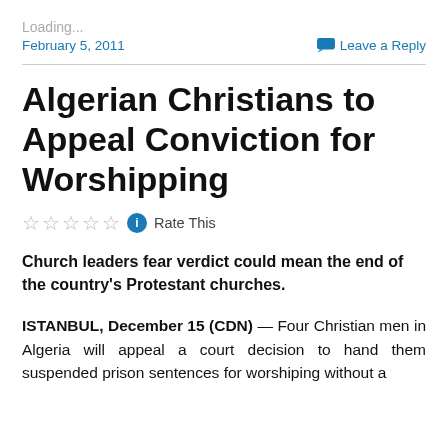Loading...
February 5, 2011
Leave a Reply
Algerian Christians to Appeal Conviction for Worshipping
☆☆☆☆☆ Rate This
Church leaders fear verdict could mean the end of the country's Protestant churches.
ISTANBUL, December 15 (CDN) — Four Christian men in Algeria will appeal a court decision to hand them suspended prison sentences for worshiping without a